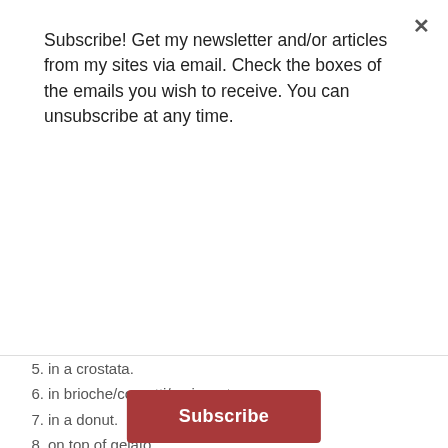Subscribe! Get my newsletter and/or articles from my sites via email. Check the boxes of the emails you wish to receive. You can unsubscribe at any time.
Subscribe
5. in a crostata.
6. in brioche/cornetti/croissant.
7. in a donut.
8. on top of gelato.
9. dip a banana into it.
10. spread onto cookies or wafers.
11. between two pizzelles.
12. in an ice cream cone.
13. on sweet ravioli.
14. in a hamburger or hotdog bun.
15. on a bagel.
16. on a muffin.